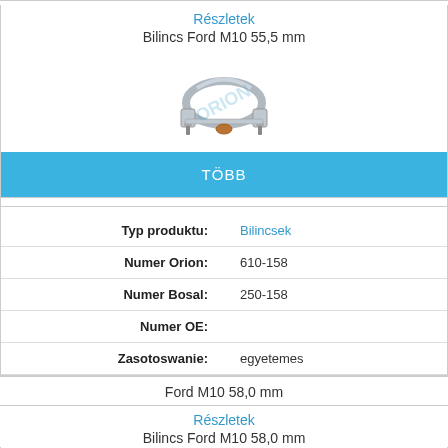Részletek
Bilincs Ford M10 55,5 mm
[Figure (photo): Metal exhaust pipe clamp / bilincs for Ford M10 55,5 mm, with watermark overlay]
TÖBB
| Typ produktu: | Bilincsek |
| Numer Orion: | 610-158 |
| Numer Bosal: | 250-158 |
| Numer OE: |  |
| Zasotoswanie: | egyetemes |
Ford M10 58,0 mm
Részletek
Bilincs Ford M10 58,0 mm